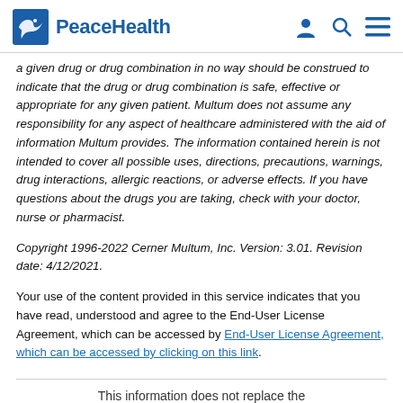PeaceHealth
a given drug or drug combination in no way should be construed to indicate that the drug or drug combination is safe, effective or appropriate for any given patient. Multum does not assume any responsibility for any aspect of healthcare administered with the aid of information Multum provides. The information contained herein is not intended to cover all possible uses, directions, precautions, warnings, drug interactions, allergic reactions, or adverse effects. If you have questions about the drugs you are taking, check with your doctor, nurse or pharmacist.
Copyright 1996-2022 Cerner Multum, Inc. Version: 3.01. Revision date: 4/12/2021.
Your use of the content provided in this service indicates that you have read, understood and agree to the End-User License Agreement, which can be accessed by End-User License Agreement, which can be accessed by clicking on this link.
This information does not replace the